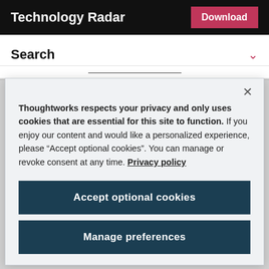Technology Radar
Search
Thoughtworks respects your privacy and only uses cookies that are essential for this site to function. If you enjoy our content and would like a personalized experience, please “Accept optional cookies”. You can manage or revoke consent at any time. Privacy policy
Accept optional cookies
Manage preferences